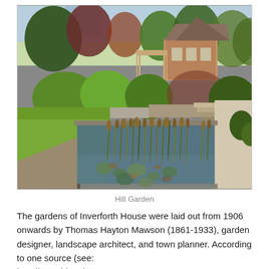[Figure (photo): A garden photograph showing a pond with reeds and lily pads in the foreground, lush green trees and shrubs in the middle ground, and a brick pavilion with a pyramidal roof and pergola structure in the background. Stone steps lead up from the garden. The scene is sunny with blue sky partially visible.]
Hill Garden
The gardens of Inverforth House were laid out from 1906 onwards by Thomas Hayton Mawson (1861-1933), garden designer, landscape architect, and town planner. According to one source (see: http://www.historic...